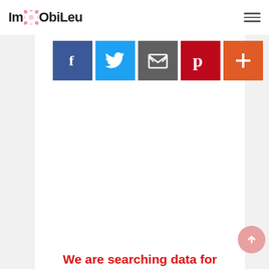[Figure (logo): ImObiLeu logo with pink flower/sakura icon between 'Im' and 'ObiLeu' text]
[Figure (infographic): Row of 5 social share buttons: Facebook (blue, f icon), Twitter (light blue, bird icon), Email (gray, envelope icon), Pinterest (red, P icon), More/Plus (orange, + icon)]
We are searching data for